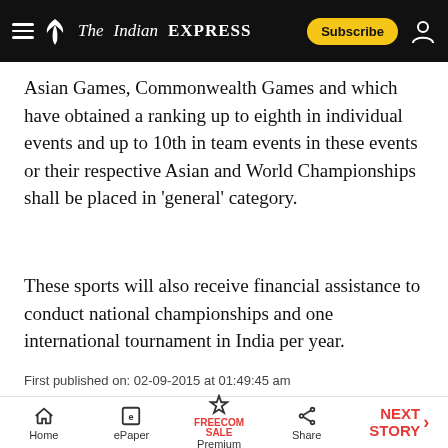The Indian Express
Asian Games, Commonwealth Games and which have obtained a ranking up to eighth in individual events and up to 10th in team events in these events or their respective Asian and World Championships shall be placed in ‘general’ category.
These sports will also receive financial assistance to conduct national championships and one international tournament in India per year.
First published on: 02-09-2015 at 01:49:45 am
Home | ePaper | Premium | Share | NEXT STORY